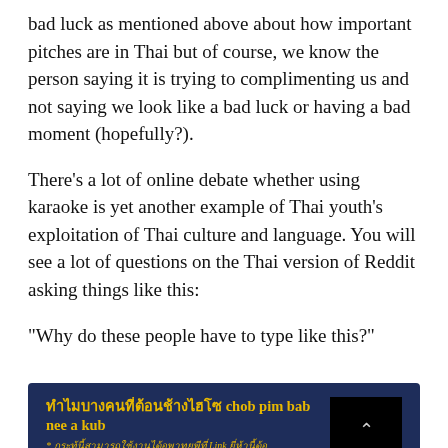bad luck as mentioned above about how important pitches are in Thai but of course, we know the person saying it is trying to complimenting us and not saying we look like a bad luck or having a bad moment (hopefully?).
There's a lot of online debate whether using karaoke is yet another example of Thai youth's exploitation of Thai culture and language. You will see a lot of questions on the Thai version of Reddit asking things like this:
“Why do these people have to type like this?”
[Figure (screenshot): Screenshot of a Thai-language forum post on a dark navy background. The title in yellow Thai script reads with romanization 'chob pim bab nee a kub'. Subtitle in yellow Thai. Tags: มหาวิทยาลัย, ประวัติศาสตร์, เรื่องลึกลับ, นักเรียนทุนต่างประเทศ, ทรัพยากรบุคคล. A black thumbnail with a chevron up icon appears top right. Body text in light grey: 'kub, kow ja pim tub pasa bab nee kub', 'pen karaoke', 'bang t use some words, bang t kor pim tub pai loey'.]